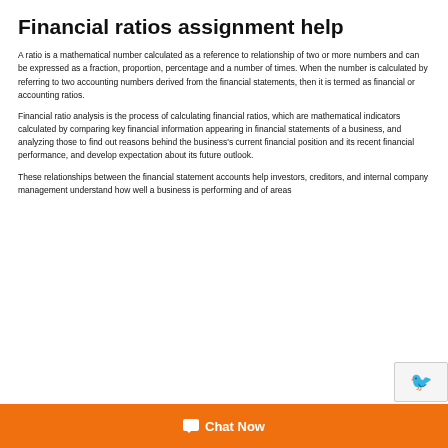Financial ratios assignment help
A ratio is a mathematical number calculated as a reference to relationship of two or more numbers and can be expressed as a fraction, proportion, percentage and a number of times. When the number is calculated by referring to two accounting numbers derived from the financial statements, then it is termed as financial or accounting ratios.
Financial ratio analysis is the process of calculating financial ratios, which are mathematical indicators calculated by comparing key financial information appearing in financial statements of a business, and analyzing those to find out reasons behind the business's current financial position and its recent financial performance, and develop expectation about its future outlook.
These relationships between the financial statement accounts help investors, creditors, and internal company management understand how well a business is performing and of areas…